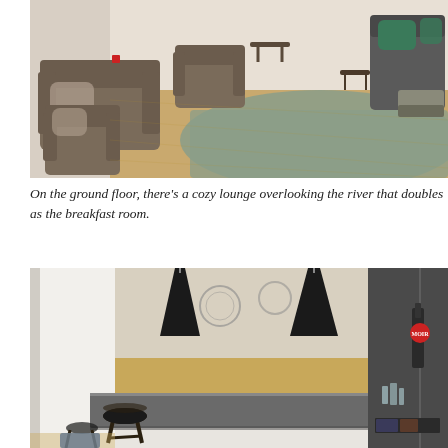[Figure (photo): Interior photo of a cozy lounge area with brown/taupe armchairs and a sofa, wooden floorboards, a large grey-green rug, and green cushions visible on the right side. The room extends into a well-lit space with more furniture in the background.]
On the ground floor, there’s a cozy lounge overlooking the river that doubles as the breakfast room.
[Figure (photo): Interior photo of a bar/counter area with a dark grey stone countertop, wooden surface behind it, three black conical pendant lights hanging from the ceiling, and bar equipment/taps visible on the right. A dark wooden stool is visible at the left foreground.]